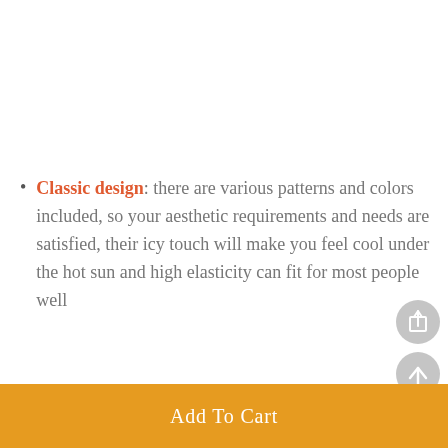Classic design: there are various patterns and colors included, so your aesthetic requirements and needs are satisfied, their icy touch will make you feel cool under the hot sun and high elasticity can fit for most people well
Add To Cart